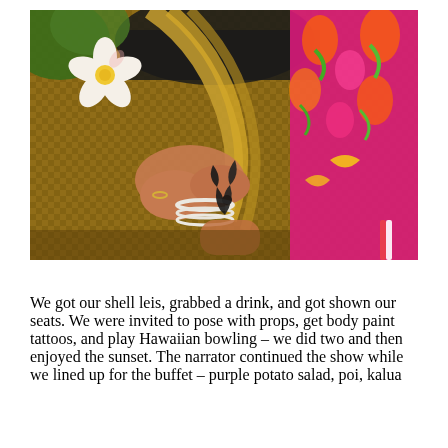[Figure (photo): A woman in a bright pink floral Hawaiian dress sits on a woven mat. She has a plumeria flower in her hair, is wearing pearl bracelets, and has a black tattoo on her forearm. She appears to be weaving or working with something in her hands.]
We got our shell leis, grabbed a drink, and got shown our seats. We were invited to pose with props, get body paint tattoos, and play Hawaiian bowling – we did two and then enjoyed the sunset. The narrator continued the show while we lined up for the buffet – purple potato salad, poi, kalua